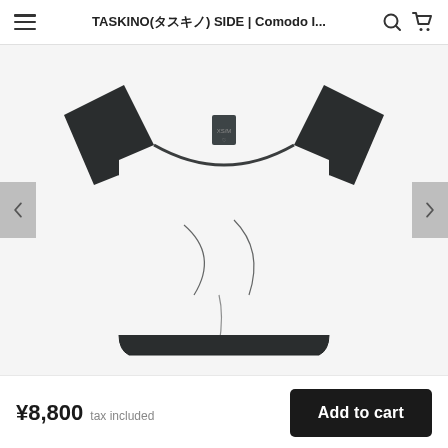TASKINO(タスキノ) SIDE | Comodo I...
[Figure (photo): A black short-sleeve T-shirt laid flat on a white/light gray background, showing the front of the garment with a round neckline, short sleeves, and a slightly elongated hem. A dark tag is visible at the back neckline. Navigation arrows appear on left and right sides of the image carousel.]
¥8,800  tax included
Add to cart